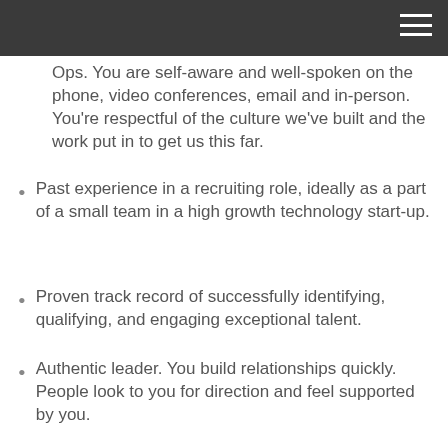[navigation bar]
Curious about all things Recruiting and Revenue Ops. You are self-aware and well-spoken on the phone, video conferences, email and in-person. You're respectful of the culture we've built and the work put in to get us this far.
Past experience in a recruiting role, ideally as a part of a small team in a high growth technology start-up.
Proven track record of successfully identifying, qualifying, and engaging exceptional talent.
Authentic leader. You build relationships quickly. People look to you for direction and feel supported by you.
Experience working with hiring leaders to build candidate pipelines and interview processes.
Excellent written and verbal communication skills, with an appropriate blend of professionalism and